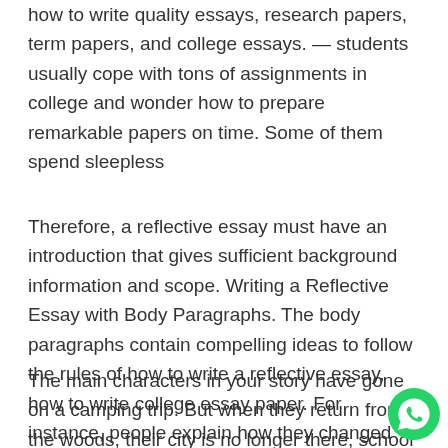how to write quality essays, research papers, term papers, and college essays. — students usually cope with tons of assignments in college and wonder how to prepare remarkable papers on time. Some of them spend sleepless
Therefore, a reflective essay must have an introduction that gives sufficient background information and scope. Writing a Reflective Essay with Body Paragraphs. The body paragraphs contain compelling ideas to follow the rules of how to write a reflective essay, how to write college essay paper. For instance, people explain how they changed from the experience. Assignment of receivables fema
The main characters in your story have gone on a camping trip. But when they return from the woods, their city is no longer there, school assignment on tsunami. Water is vital for
[Figure (logo): WhatsApp green circular icon with phone handset symbol]